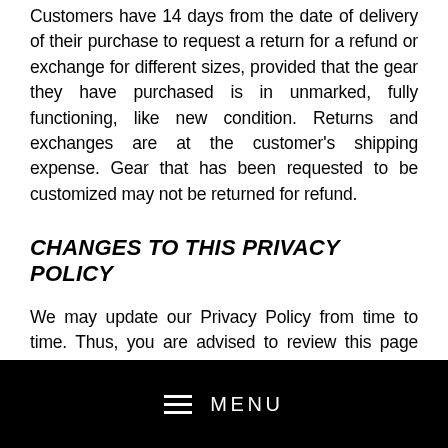Customers have 14 days from the date of delivery of their purchase to request a return for a refund or exchange for different sizes, provided that the gear they have purchased is in unmarked, fully functioning, like new condition. Returns and exchanges are at the customer's shipping expense. Gear that has been requested to be customized may not be returned for refund.
CHANGES TO THIS PRIVACY POLICY
We may update our Privacy Policy from time to time. Thus, you are advised to review this page periodically for any changes. We will notify you of any changes by posting the new Privacy Policy on this page. These
MENU